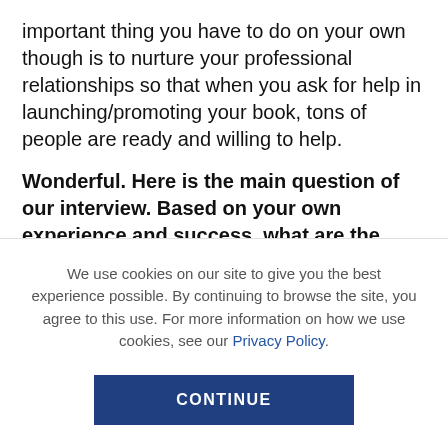important thing you have to do on your own though is to nurture your professional relationships so that when you ask for help in launching/promoting your book, tons of people are ready and willing to help.
Wonderful. Here is the main question of our interview. Based on your own experience and success, what are the “five things an author needs to know to successfully promote and market a book?” If you can, please share a story or example for each.
We use cookies on our site to give you the best experience possible. By continuing to browse the site, you agree to this use. For more information on how we use cookies, see our Privacy Policy.